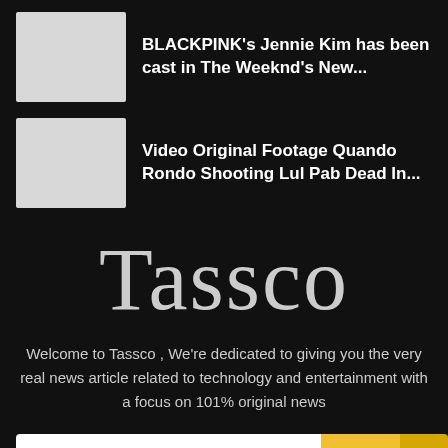BLACKPINK's Jennie Kim has been cast in The Weeknd's New...
Video Original Footage Quando Rondo Shooting Lul Pab Dead In...
Tassco
Welcome to Tassco , We're dedicated to giving you the very real news article related to technology and entertainment with a focus on 101% original news
Enter your e-mail ...
Subscr